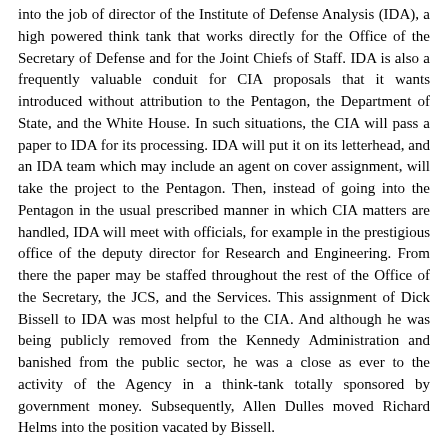into the job of director of the Institute of Defense Analysis (IDA), a high powered think tank that works directly for the Office of the Secretary of Defense and for the Joint Chiefs of Staff. IDA is also a frequently valuable conduit for CIA proposals that it wants introduced without attribution to the Pentagon, the Department of State, and the White House. In such situations, the CIA will pass a paper to IDA for its processing. IDA will put it on its letterhead, and an IDA team which may include an agent on cover assignment, will take the project to the Pentagon. Then, instead of going into the Pentagon in the usual prescribed manner in which CIA matters are handled, IDA will meet with officials, for example in the prestigious office of the deputy director for Research and Engineering. From there the paper may be staffed throughout the rest of the Office of the Secretary, the JCS, and the Services. This assignment of Dick Bissell to IDA was most helpful to the CIA. And although he was being publicly removed from the Kennedy Administration and banished from the public sector, he was a close as ever to the activity of the Agency in a think-tank totally sponsored by government money. Subsequently, Allen Dulles moved Richard Helms into the position vacated by Bissell.
Dulles' next goal was to rebuild the influence of the CIA in the White House. He accomplished this masterfully by seeing to it that Bobby Kennedy heard all the things he wanted him to hear during these hearings. He won him over without the appearance of catering to him or doting upon him. Therefore, he saw to it that Bobby was left to his own thoughts as each day's witnesses entered the committee rooms in the